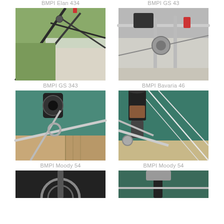BMPI Elan 434
BMPI GS 43
[Figure (photo): Close-up photo of boat rigging hardware including metal poles and fittings, with grass and sailboat visible in background]
[Figure (photo): Close-up photo of boat stern hardware with navigation light and stainless steel fittings]
BMPI GS 343
BMPI Bavaria 46
[Figure (photo): Close-up photo of sailboat windlass or winch hardware on deck with marina water in background]
[Figure (photo): Close-up photo of sailboat bow hardware with stainless steel fittings and lines, with teal water in background]
BMPI Moody 54
BMPI Moody 54
[Figure (photo): Partial photo of boat hardware at bottom of page, left column]
[Figure (photo): Partial photo of boat hardware at bottom of page, right column]